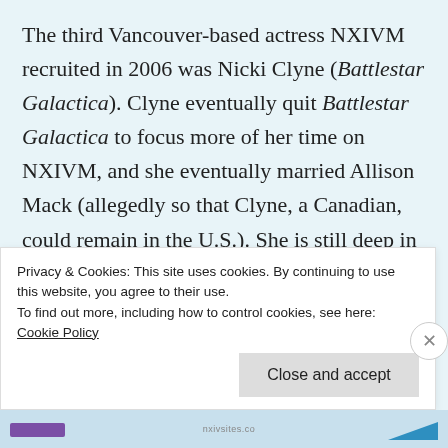The third Vancouver-based actress NXIVM recruited in 2006 was Nicki Clyne (Battlestar Galactica). Clyne eventually quit Battlestar Galactica to focus more of her time on NXIVM, and she eventually married Allison Mack (allegedly so that Clyne, a Canadian, could remain in the U.S.). She is still deep in NXIVM, one of the women currently running the DOSsier Project, a pro-Raniere group that we'll get to after the trial.
Privacy & Cookies: This site uses cookies. By continuing to use this website, you agree to their use.
To find out more, including how to control cookies, see here: Cookie Policy
Close and accept